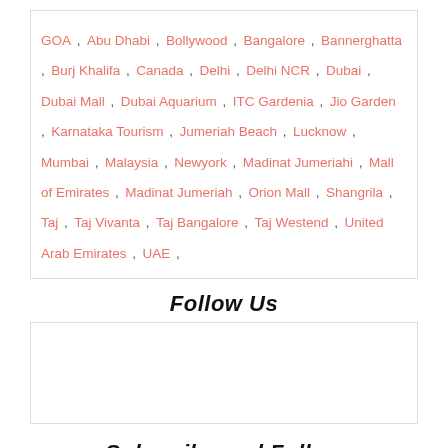GOA , Abu Dhabi , Bollywood , Bangalore , Bannerghatta , Burj Khalifa , Canada , Delhi , Delhi NCR , Dubai , Dubai Mall , Dubai Aquarium , ITC Gardenia , Jio Garden , Karnataka Tourism , Jumeriah Beach , Lucknow , Mumbai , Malaysia , Newyork , Madinat Jumeriahi , Mall of Emirates , Madinat Jumeriah , Orion Mall , Shangrila , Taj , Taj Vivanta , Taj Bangalore , Taj Westend , United Arab Emirates , UAE ,
Follow Us
[Figure (other): Empty follow us widget box]
Subscribe and Follow
[Figure (other): Social media icons: Facebook, Twitter, Instagram, Pinterest, YouTube, and a scroll-to-top button]